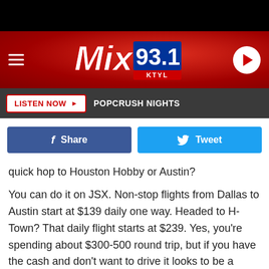[Figure (screenshot): Mix 93.1 KTYL radio station website header with red background, hamburger menu, logo, and play button]
[Figure (screenshot): Navigation bar with Listen Now button and POPCRUSH NIGHTS label]
[Figure (screenshot): Social sharing buttons: Facebook Share and Twitter Tweet]
quick hop to Houston Hobby or Austin?
You can do it on JSX. Non-stop flights from Dallas to Austin start at $139 daily one way. Headed to H-Town? That daily flight starts at $239. Yes, you're spending about $300-500 round trip, but if you have the cash and don't want to drive it looks to be a pretty unique experience.
Cabin service includes alcoholic beverages and snacks, and there's plenty of room to stretch out if you have long legs.